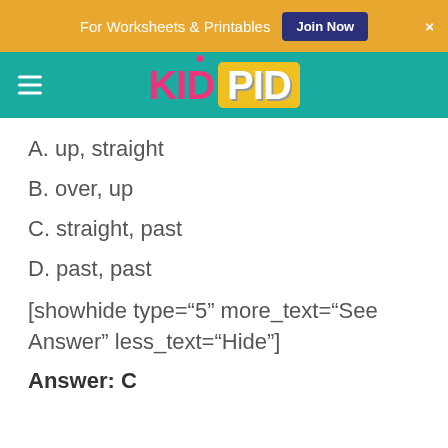For Worksheets & Printables  Join Now  ×
[Figure (logo): KidPid logo on teal navigation bar with hamburger menu icon]
A. up, straight
B. over, up
C. straight, past
D. past, past
[showhide type="5" more_text="See Answer" less_text="Hide"]
Answer: C